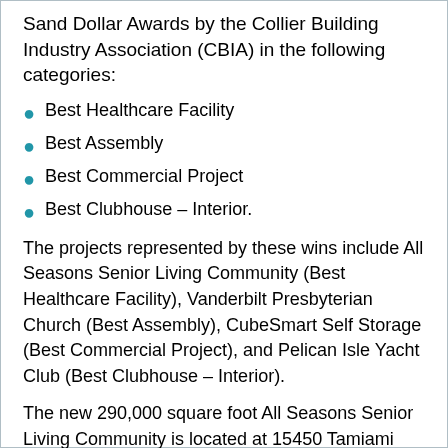Sand Dollar Awards by the Collier Building Industry Association (CBIA) in the following categories:
Best Healthcare Facility
Best Assembly
Best Commercial Project
Best Clubhouse – Interior.
The projects represented by these wins include All Seasons Senior Living Community (Best Healthcare Facility), Vanderbilt Presbyterian Church (Best Assembly), CubeSmart Self Storage (Best Commercial Project), and Pelican Isle Yacht Club (Best Clubhouse – Interior).
The new 290,000 square foot All Seasons Senior Living Community is located at 15450 Tamiami Trail and features independent living, assisted living, and memory care housing along with an abundance of amenities. The community has 189 one and two-bedroom apartments housed in a 4-story building with multiple wings attached, complemented with courtyards, balconies and high end finishes. The 10,628 square foot Vanderbilt Presbyterian project entailed renovation of the Chancel, Sanctuary, and Narthex along with an addition of a welcome center at